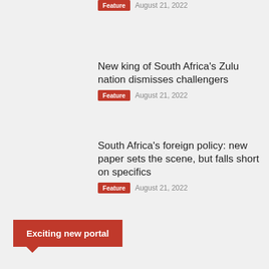Feature   August 21, 2022
New king of South Africa's Zulu nation dismisses challengers
Feature   August 21, 2022
South Africa's foreign policy: new paper sets the scene, but falls short on specifics
Feature   August 21, 2022
Exciting new portal